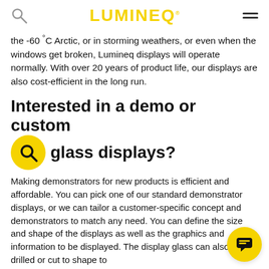LUMINEQ
the -60 °C Arctic, or in storming weathers, or even when the windows get broken, Lumineq displays will operate normally. With over 20 years of product life, our displays are also cost-efficient in the long run.
Interested in a demo or custom glass displays?
Making demonstrators for new products is efficient and affordable. You can pick one of our standard demonstrator displays, or we can tailor a customer-specific concept and demonstrators to match any need. You can define the size and shape of the displays as well as the graphics and information to be displayed. The display glass can also be drilled or cut to shape to